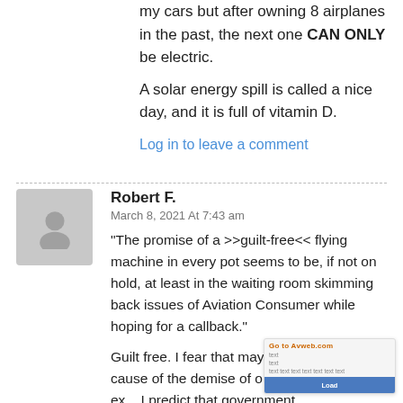my cars but after owning 8 airplanes in the past, the next one CAN ONLY be electric.
A solar energy spill is called a nice day, and it is full of vitamin D.
Log in to leave a comment
Robert F.
March 8, 2021 At 7:43 am
"The promise of a >>guilt-free<< flying machine in every pot seems to be, if not on hold, at least in the waiting room skimming back issues of Aviation Consumer while hoping for a callback."
Guilt free. I fear that may be the more likely cause of the demise of our general aviation ex... I predict that government regulations/tax...